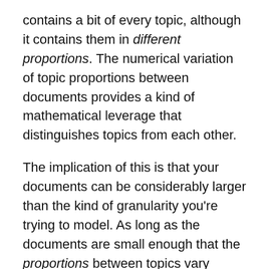contains a bit of every topic, although it contains them in different proportions. The numerical variation of topic proportions between documents provides a kind of mathematical leverage that distinguishes topics from each other.
The implication of this is that your documents can be considerably larger than the kind of granularity you're trying to model. As long as the documents are small enough that the proportions between topics vary significantly from one document to the next, you'll get the leverage you need to discriminate those topics. Thus you can model a collection of volumes and get topics that are not mere “subject classifications” for volumes.
Now, in the comments to an earlier post I also said that I thought “topic” was not always the right word to use for the